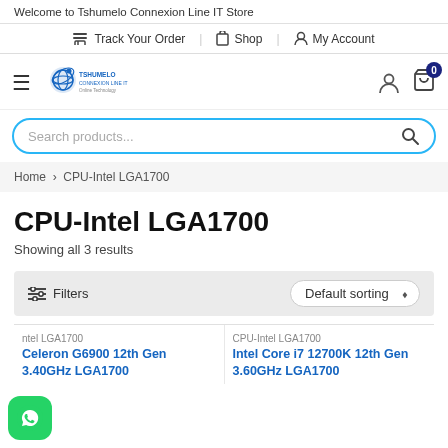Welcome to Tshumelo Connexion Line IT Store
Track Your Order | Shop | My Account
[Figure (logo): Tshumelo Connexion Line IT logo with globe/atom graphic]
Search products...
Home > CPU-Intel LGA1700
CPU-Intel LGA1700
Showing all 3 results
Filters   Default sorting
CPU-Intel LGA1700
Celeron G6900 12th Gen 3.40GHz LGA1700
CPU-Intel LGA1700
Intel Core i7 12700K 12th Gen 3.60GHz LGA1700